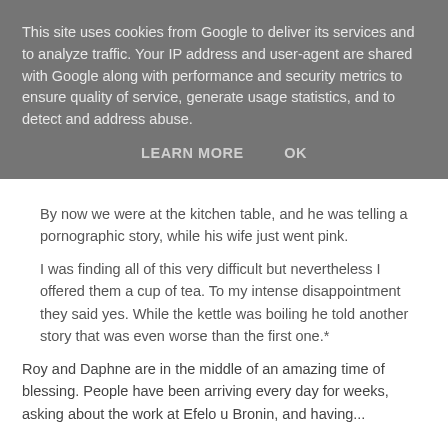This site uses cookies from Google to deliver its services and to analyze traffic. Your IP address and user-agent are shared with Google along with performance and security metrics to ensure quality of service, generate usage statistics, and to detect and address abuse.
LEARN MORE   OK
By now we were at the kitchen table, and he was telling a pornographic story, while his wife just went pink.
I was finding all of this very difficult but nevertheless I offered them a cup of tea. To my intense disappointment they said yes. While the kettle was boiling he told another story that was even worse than the first one.*
Roy and Daphne are in the middle of an amazing time of blessing. People have been arriving every day for weeks, asking about the work at Efelo u Bronin, and having...